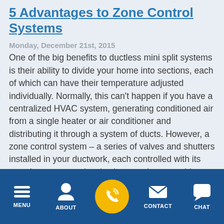5 Advantages to Zone Control Systems
Monday, December 21st, 2015
One of the big benefits to ductless mini split systems is their ability to divide your home into sections, each of which can have their temperature adjusted individually. Normally, this can't happen if you have a centralized HVAC system, generating conditioned air from a single heater or air conditioner and distributing it through a system of ducts. However, a zone control system – a series of valves and shutters installed in your ductwork, each controlled with its own thermostat and activation panel – can achieve much the same thing without forcing you to get rid of your
MENU  ABOUT  CONTACT  CHAT